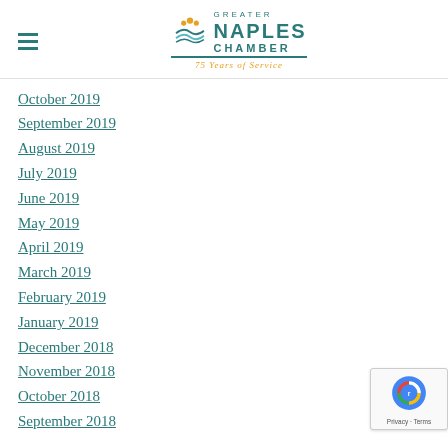Greater Naples Chamber — 75 Years of Service
October 2019
September 2019
August 2019
July 2019
June 2019
May 2019
April 2019
March 2019
February 2019
January 2019
December 2018
November 2018
October 2018
September 2018